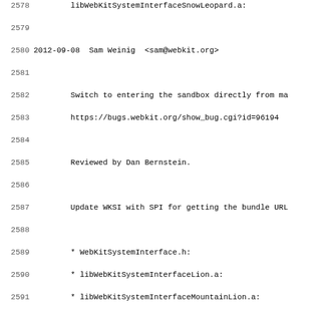Source code changelog / commit log snippet showing entries from 2012-08-15 to 2012-09-08, with line numbers 2578-2610. Authors include Sam Weinig, Tony Chang, and Bruno de Oliveira Abinader. Changes relate to WebKit sandbox, CSS3 flexbox, and CSS3 text decoration.